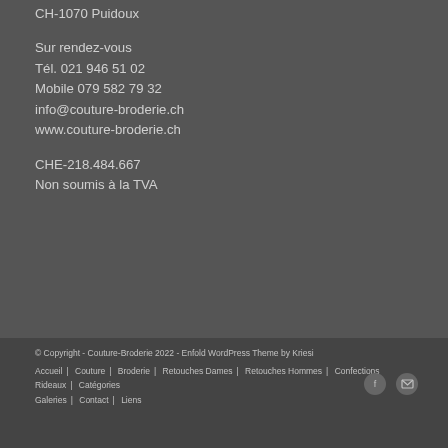CH-1070 Puidoux
Sur rendez-vous
Tél. 021 946 51 02
Mobile 079 582 79 32
info@couture-broderie.ch
www.couture-broderie.ch
CHE-218.484.667
Non soumis à la TVA
© Copyright - Couture-Broderie 2022 - Enfold WordPress Theme by Kriesi
Accueil | Couture | Broderie | Retouches Dames | Retouches Hommes | Confections Rideaux | Catégories | Galeries | Contact | Liens